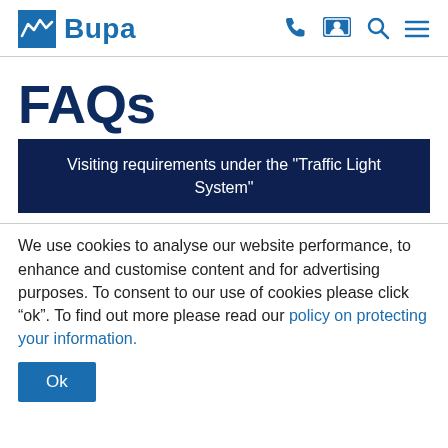Bupa — navigation header with logo and icons
FAQs
Visiting requirements under the "Traffic Light System"
We use cookies to analyse our website performance, to enhance and customise content and for advertising purposes. To consent to our use of cookies please click “ok”. To find out more please read our policy on protecting your information.
Ok